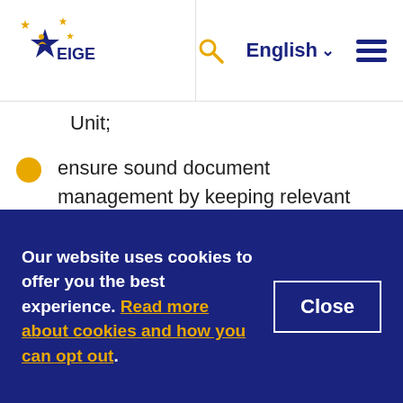[Figure (logo): EIGE logo — blue star with people figures and yellow stars, text EIGE in blue]
Unit;
ensure sound document management by keeping relevant files up-to-date, guaranteeing the archiving of files and maintaining the central archive;
assist in organising internal and external events (such as meetings, workshops, training events, selection procedures, public events, etc.);
Our website uses cookies to offer you the best experience. Read more about cookies and how you can opt out.